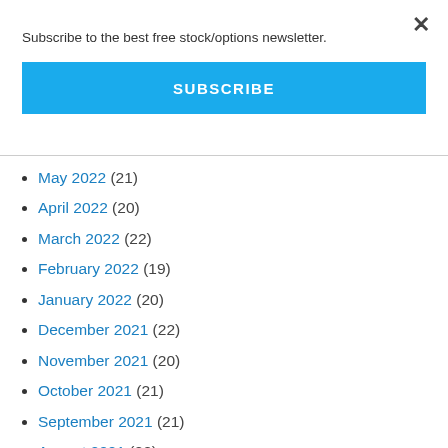Subscribe to the best free stock/options newsletter.
SUBSCRIBE
May 2022 (21)
April 2022 (20)
March 2022 (22)
February 2022 (19)
January 2022 (20)
December 2021 (22)
November 2021 (20)
October 2021 (21)
September 2021 (21)
August 2021 (22)
July 2021 (21)